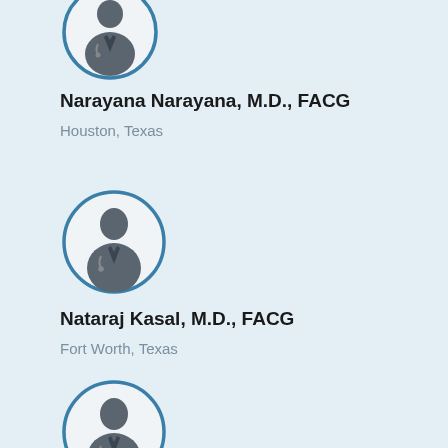[Figure (illustration): Doctor silhouette avatar in circular frame with blue border, partially visible at top]
Narayana Narayana, M.D., FACG
Houston, Texas
[Figure (illustration): Doctor silhouette avatar in circular frame with blue border]
Nataraj Kasal, M.D., FACG
Fort Worth, Texas
[Figure (illustration): Doctor silhouette avatar in circular frame with blue border, partially visible at bottom]